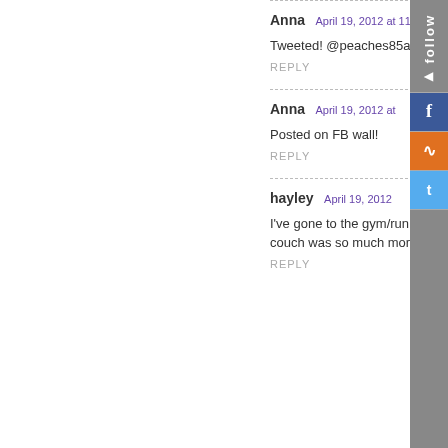Anna  April 19, 2012 at 11:47
Tweeted! @peaches85a
REPLY
Anna  April 19, 2012 at
Posted on FB wall!
REPLY
hayley  April 19, 2012
I've gone to the gym/run out  couch was so much more c
REPLY
[Figure (other): Social media follow sidebar with Facebook, RSS, and Twitter icons and 'follow' vertical text label]